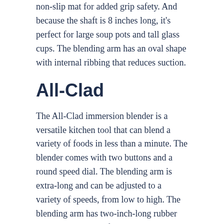non-slip mat for added grip safety. And because the shaft is 8 inches long, it's perfect for large soup pots and tall glass cups. The blending arm has an oval shape with internal ribbing that reduces suction.
All-Clad
The All-Clad immersion blender is a versatile kitchen tool that can blend a variety of foods in less than a minute. The blender comes with two buttons and a round speed dial. The blending arm is extra-long and can be adjusted to a variety of speeds, from low to high. The blending arm has two-inch-long rubber pads on the bottom for a secure grip. This model is not only durable, it's also lightweight at 2.8 pounds.
The All-Clad immersion blender has variable speeds for versatility. Its power-tapping 600-watt motor allows you to blend a variety of foods at various